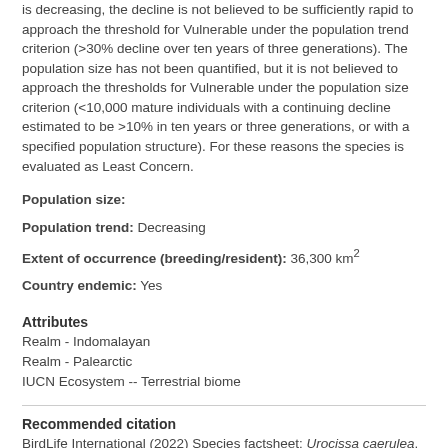is decreasing, the decline is not believed to be sufficiently rapid to approach the threshold for Vulnerable under the population trend criterion (>30% decline over ten years of three generations). The population size has not been quantified, but it is not believed to approach the thresholds for Vulnerable under the population size criterion (<10,000 mature individuals with a continuing decline estimated to be >10% in ten years or three generations, or with a specified population structure). For these reasons the species is evaluated as Least Concern.
Population size:
Population trend: Decreasing
Extent of occurrence (breeding/resident): 36,300 km²
Country endemic: Yes
Attributes
Realm - Indomalayan
Realm - Palearctic
IUCN Ecosystem -- Terrestrial biome
Recommended citation
BirdLife International (2022) Species factsheet: Urocissa caerulea.